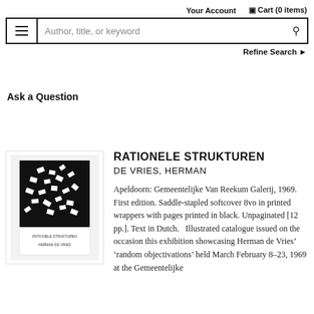Your Account   Cart (0 items)
Author, title, or keyword [search]  Refine Search
Ask a Question
[Figure (photo): Book cover of Rationele Strukturen by Herman de Vries, black and white cover with scattered white rectangular shapes on black background, text at bottom reads RATIONELE STRUKTUREN HERMAN DE VRIES]
RATIONELE STRUKTUREN
DE VRIES, HERMAN
Apeldoorn: Gemeentelijke Van Reekum Galerij, 1969. First edition. Saddle-stapled softcover 8vo in printed wrappers with pages printed in black. Unpaginated [12 pp.]. Text in Dutch.  Illustrated catalogue issued on the occasion this exhibition showcasing Herman de Vries' ‘random objectivations’ held March February 8–23, 1969 at the Gemeentelijke